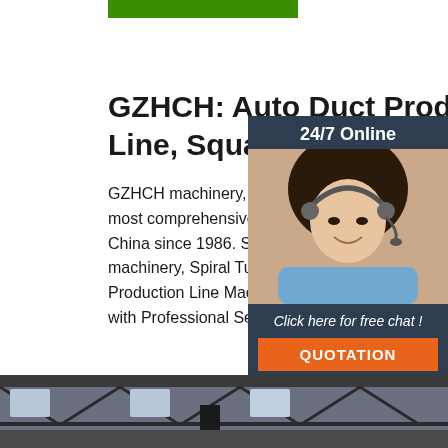[Figure (other): Green bar at top of page (partial navigation element)]
GZHCH: Auto Duct Production Line, Square & Spiral &
GZHCH machinery, one of the largest and most comprehensive kinds of HVAC machinery in China since 1986. Specialized in HVAC duct machinery, Spiral Tube Former, Auto Duct Production Line Machine, Lockformer Machine with Professional Service.
[Figure (photo): Customer service representative with headset, smiling. 24/7 Online chat widget with 'Click here for free chat!' text and QUOTATION button.]
[Figure (photo): Interior of a factory/warehouse showing steel roof structure and industrial equipment, partially visible at bottom of page.]